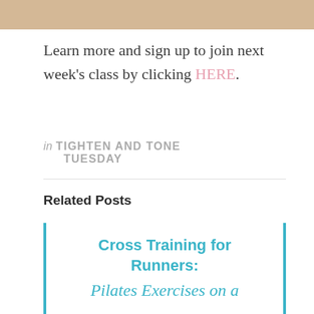[Figure (photo): Partial photo showing wooden floor with bare feet, cropped at top of page]
Learn more and sign up to join next week's class by clicking HERE.
in TIGHTEN AND TONE TUESDAY
Related Posts
Cross Training for Runners: Pilates Exercises on a